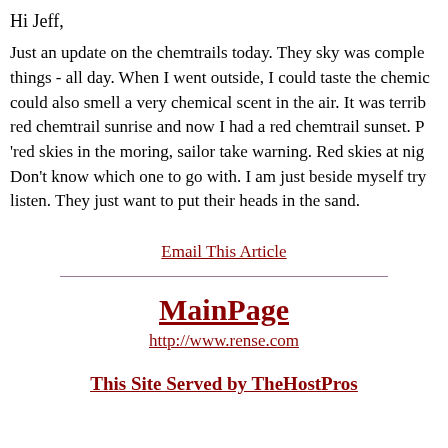Hi Jeff,
Just an update on the chemtrails today. They sky was completely covered with things - all day. When I went outside, I could taste the chemicals and I could also smell a very chemical scent in the air. It was terrible. I had a red chemtrail sunrise and now I had a red chemtrail sunset. P... 'red skies in the moring, sailor take warning. Red skies at nig... Don't know which one to go with. I am just beside myself try... listen. They just want to put their heads in the sand.
Email This Article
MainPage
http://www.rense.com
This Site Served by TheHostPros